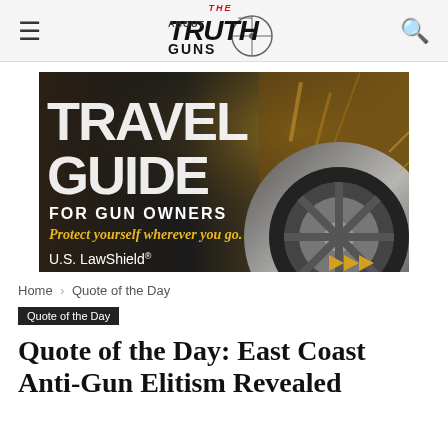The Truth About Guns
[Figure (illustration): Travel Guide for Gun Owners advertisement banner by U.S. LawShield. Shows spinning car wheel/tire in motion with bold text reading TRAVEL GUIDE FOR GUN OWNERS, italic gold text: Protect yourself wherever you go. U.S. LawShield logo and gold forward-arrow icons at bottom.]
Home › Quote of the Day
Quote of the Day
Quote of the Day: East Coast Anti-Gun Elitism Revealed